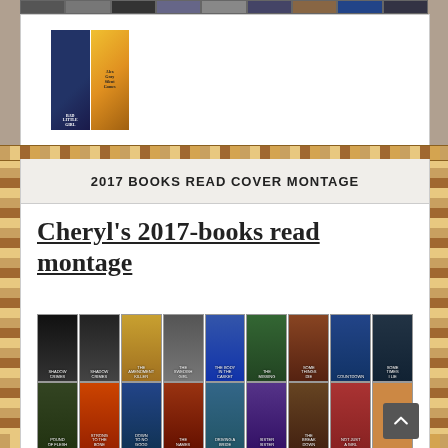[Figure (illustration): Book cover images strip and two book covers (Bad Little Girl, Alex Gray Silent Voices)]
Cheryl's favorite books »
2017 BOOKS READ COVER MONTAGE
Cheryl's 2017-books read montage
[Figure (illustration): Three rows of book cover thumbnail images forming a 2017 books read montage]
[Figure (illustration): Scroll to top button arrow icon]